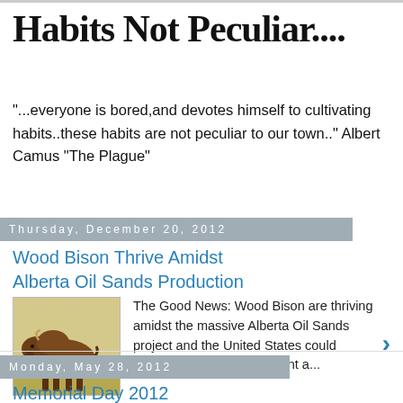Habits Not Peculiar....
"...everyone is bored,and devotes himself to cultivating habits..these habits are not peculiar to our town.." Albert Camus "The Plague"
Thursday, December 20, 2012
Wood Bison Thrive Amidst Alberta Oil Sands Production
[Figure (photo): Photo of a brown wood bison standing in a field]
The Good News: Wood Bison are thriving amidst the massive Alberta Oil Sands project and the United States could become energy independent a...
Monday, May 28, 2012
Memorial Day 2012
[Figure (photo): Photo thumbnail for Memorial Day 2012 article]
Go HERE for enlarged image